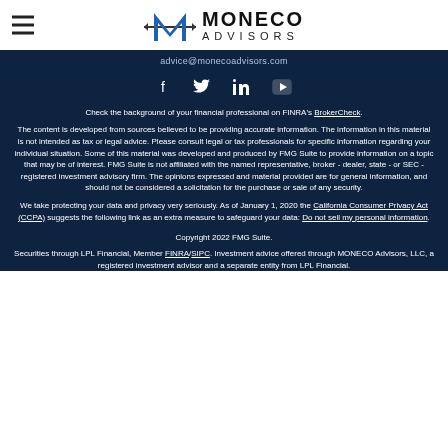Moneco Advisors logo header
advice@monecoadvisors.com
[Figure (other): Social media icons: Facebook, Twitter, LinkedIn, YouTube]
Check the background of your financial professional on FINRA's BrokerCheck.
The content is developed from sources believed to be providing accurate information. The information in this material is not intended as tax or legal advice. Please consult legal or tax professionals for specific information regarding your individual situation. Some of this material was developed and produced by FMG Suite to provide information on a topic that may be of interest. FMG Suite is not affiliated with the named representative, broker - dealer, state - or SEC - registered investment advisory firm. The opinions expressed and material provided are for general information, and should not be considered a solicitation for the purchase or sale of any security.
We take protecting your data and privacy very seriously. As of January 1, 2020 the California Consumer Privacy Act (CCPA) suggests the following link as an extra measure to safeguard your data: Do not sell my personal information.
Copyright 2022 FMG Suite.
Securities through LPL Financial, Member FINRA/SIPC. Investment advice offered through MONECO Advisors, LLC, a registered investment advisor and a separate entity from LPL Financial.